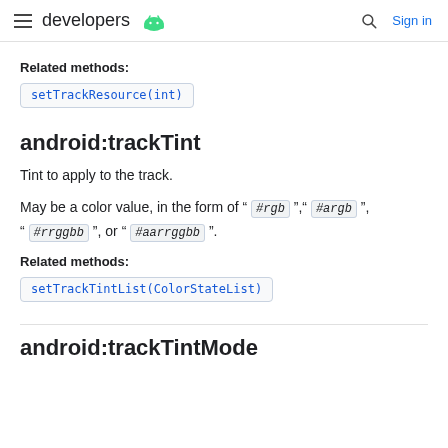developers [android logo] | Search | Sign in
Related methods:
setTrackResource(int)
android:trackTint
Tint to apply to the track.
May be a color value, in the form of " #rgb ", " #argb ", " #rrggbb ", or " #aarrggbb ".
Related methods:
setTrackTintList(ColorStateList)
android:trackTintMode